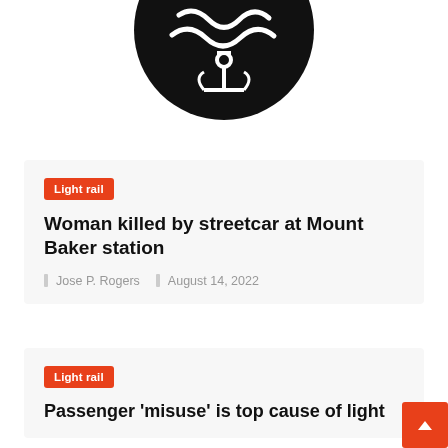[Figure (logo): Black circular logo with a stylized fish/wave design and anchor symbol, partially cropped at top]
Light rail
Woman killed by streetcar at Mount Baker station
Jose P. Rogers   August 14, 2022
Light rail
Passenger 'misuse' is top cause of light